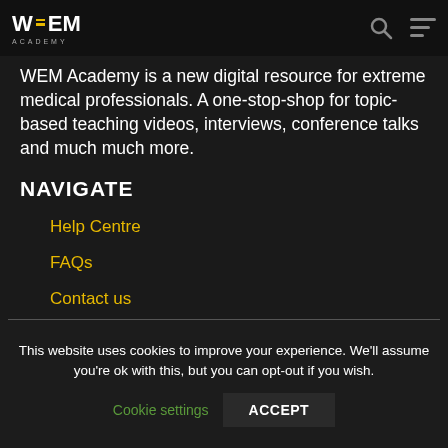WEM ACADEMY
WEM Academy is a new digital resource for extreme medical professionals. A one-stop-shop for topic-based teaching videos, interviews, conference talks and much much more.
NAVIGATE
Help Centre
FAQs
Contact us
This website uses cookies to improve your experience. We'll assume you're ok with this, but you can opt-out if you wish.
Cookie settings  ACCEPT